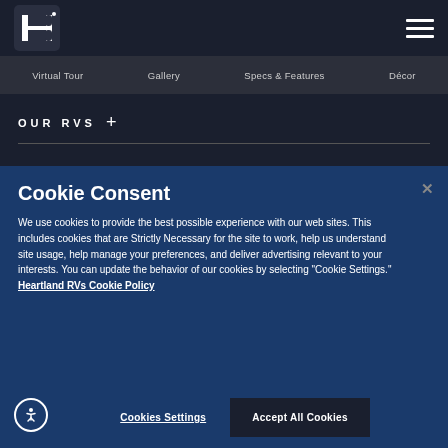Heartland RVs logo and hamburger menu navigation
Virtual Tour | Gallery | Specs & Features | Décor
OUR RVS +
Cookie Consent
We use cookies to provide the best possible experience with our web sites. This includes cookies that are Strictly Necessary for the site to work, help us understand site usage, help manage your preferences, and deliver advertising relevant to your interests. You can update the behavior of our cookies by selecting "Cookie Settings." Heartland RVs Cookie Policy
Cookies Settings | Accept All Cookies